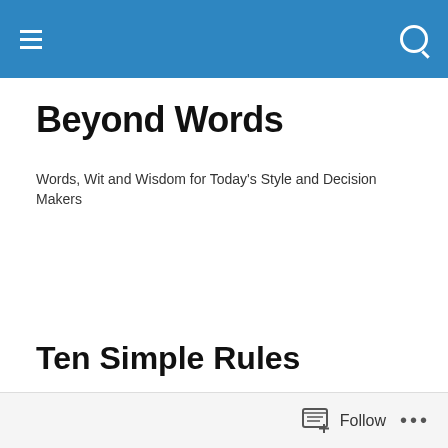Beyond Words
Words, Wit and Wisdom for Today's Style and Decision Makers
Ten Simple Rules
[Figure (photo): Two stone tablets showing the Ten Commandments. Left tablet header: 'THE TEN', right tablet header: 'COMMANDMENTS'. Commandments listed include: 1. I AM THE LORD YOUR GOD. YOU SHALL WORSHIP THE LORD YOUR GOD AND HIM ONLY SHALL YOU SERVE. 2. YOU SHALL NOT TAKE THE NAME OF THE LORD YOUR GOD IN VAIN. 3. REMEMBER TO KEEP HOLY... 6. YOU SHALL NOT COMMIT ADULTERY. 7. YOU SHALL NOT STEAL. 8. YOU SHALL NOT BEAR FALSE WITNESS. 9. YOU SHA...]
Follow ...